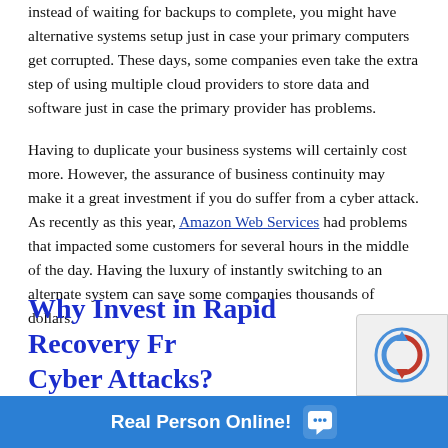instead of waiting for backups to complete, you might have alternative systems setup just in case your primary computers get corrupted.  These days, some companies even take the extra step of using multiple cloud providers to store data and software just in case the primary provider has problems.
Having to duplicate your business systems will certainly cost more.  However, the assurance of business continuity may make it a great investment if you do suffer from a cyber attack.  As recently as this year, Amazon Web Services had problems that impacted some customers for several hours in the middle of the day. Having the luxury of instantly switching to an alternate system can save some companies thousands of dollars.
Why Invest in Rapid Recovery From Cyber Attacks?